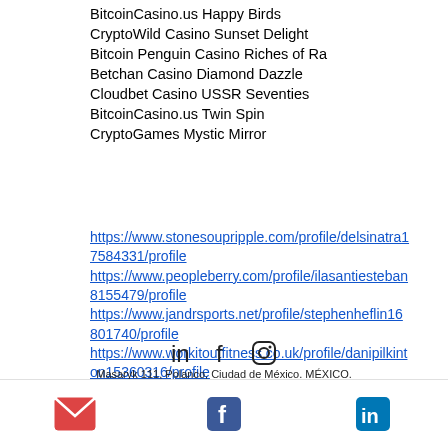BitcoinCasino.us Happy Birds
CryptoWild Casino Sunset Delight
Bitcoin Penguin Casino Riches of Ra
Betchan Casino Diamond Dazzle
Cloudbet Casino USSR Seventies
BitcoinCasino.us Twin Spin
CryptoGames Mystic Mirror
https://www.stonesoupripple.com/profile/delsinatra17584331/profile https://www.peopleberry.com/profile/ilasantiesteban8155479/profile https://www.jandrsports.net/profile/stephenheflin16801740/profile https://www.workitoutfitness.co.uk/profile/danipilkinton15360316/profile
Masaryk 111, Polanco, Ciudad de México. MÉXICO.